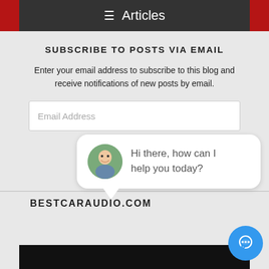Articles
SUBSCRIBE TO POSTS VIA EMAIL
Enter your email address to subscribe to this blog and receive notifications of new posts by email.
Email Address
SUBSCRIBE
[Figure (photo): Chat widget with man's avatar and message: Hi there, how can I help you today?]
BESTCARAUDIO.COM